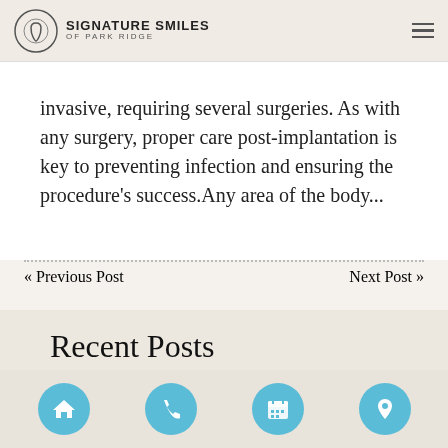SIGNATURE SMILES OF PARK RIDGE
invasive, requiring several surgeries. As with any surgery, proper care post-implantation is key to preventing infection and ensuring the procedure's success. Any area of the body...
« Previous Post    Next Post »
Recent Posts
[Figure (photo): Partial thumbnail image of a person, appears to be a dental patient or professional]